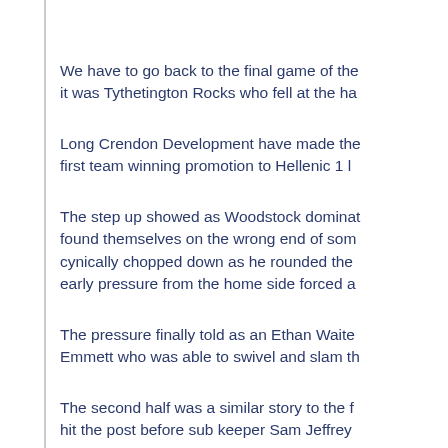We have to go back to the final game of the it was Tythetington Rocks who fell at the ha
Long Crendon Development have made the first team winning promotion to Hellenic 1 l
The step up showed as Woodstock dominat found themselves on the wrong end of som cynically chopped down as he rounded the early pressure from the home side forced a
The pressure finally told as an Ethan Waite Emmett who was able to swivel and slam th
The second half was a similar story to the f hit the post before sub keeper Sam Jeffrey